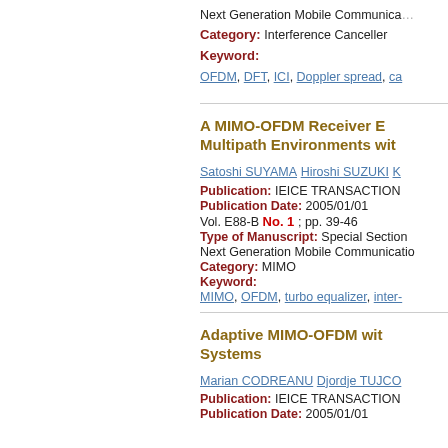Next Generation Mobile Communications
Category: Interference Canceller
Keyword:
OFDM, DFT, ICI, Doppler spread, ca...
A MIMO-OFDM Receiver E... Multipath Environments wit...
Satoshi SUYAMA Hiroshi SUZUKI K...
Publication:   IEICE TRANSACTION...
Publication Date: 2005/01/01
Vol. E88-B  No. 1 ; pp. 39-46
Type of Manuscript:  Special Section...
Next Generation Mobile Communicatio...
Category: MIMO
Keyword:
MIMO, OFDM, turbo equalizer, inter-...
Adaptive MIMO-OFDM wit... Systems
Marian CODREANU Djordje TUJCO...
Publication:   IEICE TRANSACTION...
Publication Date: 2005/01/01